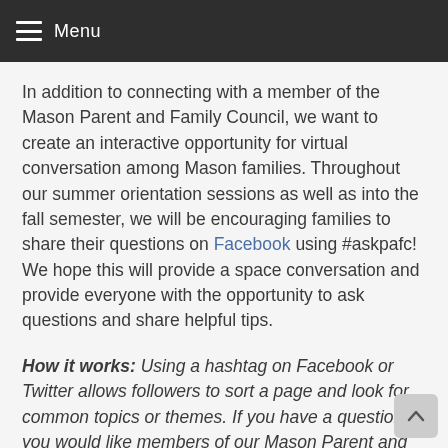Menu
In addition to connecting with a member of the Mason Parent and Family Council, we want to create an interactive opportunity for virtual conversation among Mason families. Throughout our summer orientation sessions as well as into the fall semester, we will be encouraging families to share their questions on Facebook using #askpafc! We hope this will provide a space conversation and provide everyone with the opportunity to ask questions and share helpful tips.
How it works: Using a hashtag on Facebook or Twitter allows followers to sort a page and look for common topics or themes. If you have a question you would like members of our Mason Parent and Family Council to respond to, include #askpafc and a member(s) of the Council will engage with you on Facebook. Beginning